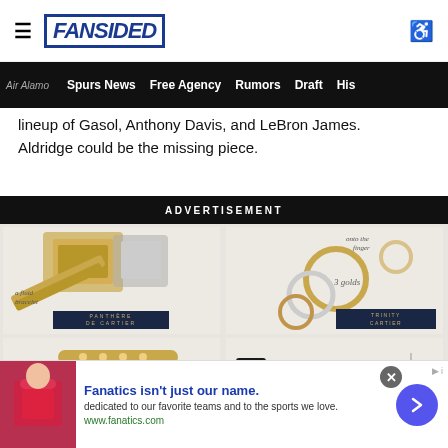FanSided
Air Alamo | Spurs News | Free Agency | Rumors | Draft | His
lineup of Gasol, Anthony Davis, and LeBron James. Aldridge could be the missing piece.
ADVERTISEMENT
[Figure (photo): Cartier jewelry advertisement showing watches and bracelets with handwritten text labels 'a fluid bracelet' and 'PANTHÈRE DE CARTIER']
[Figure (photo): Cartier jewelry advertisement showing rings in 3 golds with handwritten text 'onto the finger' and 'TRINITY CARTIER' label]
[Figure (photo): Cartier jewelry advertisement showing bracelet with handwritten text 'a screwdriver to lock the two parts' and 'visible screws']
[Figure (photo): Cartier jewelry advertisement showing watch and bracelets with handwritten text 'parallel bracelets' and 'clean lines']
[Figure (photo): Fanatics advertisement: 'Fanatics isn't just our name. dedicated to our favorite teams and to the sports we love. www.fanatics.com']